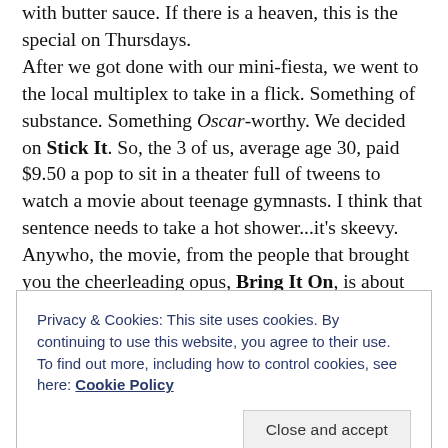with butter sauce. If there is a heaven, this is the special on Thursdays.
After we got done with our mini-fiesta, we went to the local multiplex to take in a flick. Something of substance. Something Oscar-worthy. We decided on Stick It. So, the 3 of us, average age 30, paid $9.50 a pop to sit in a theater full of tweens to watch a movie about teenage gymnasts. I think that sentence needs to take a hot shower...it's skeevy. Anywho, the movie, from the people that brought you the cheerleading opus, Bring It On, is about rebelling against authority. These plucky gals need to express
Privacy & Cookies: This site uses cookies. By continuing to use this website, you agree to their use.
To find out more, including how to control cookies, see here: Cookie Policy
Close and accept